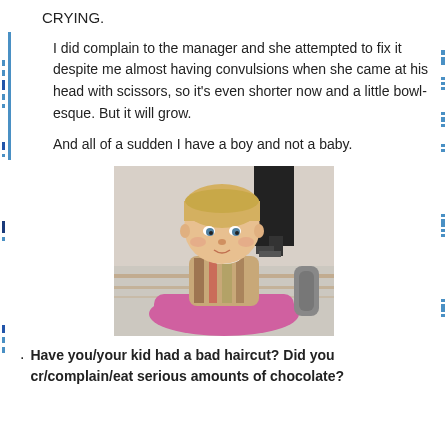CRYING.
I did complain to the manager and she attempted to fix it despite me almost having convulsions when she came at his head with scissors, so it's even shorter now and a little bowl-esque. But it will grow.
And all of a sudden I have a boy and not a baby.
[Figure (photo): A young toddler boy with short bowl-cut blond hair, wearing a striped vest, sitting in a pink ride-on toy car inside what appears to be a mall or store. An adult stands behind him.]
Have you/your kid had a bad haircut? Did you cr/complain/eat serious amounts of chocolate?